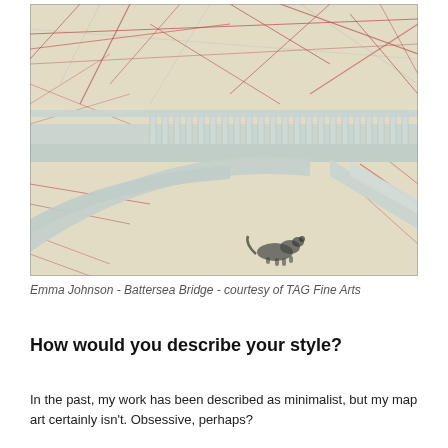[Figure (photo): Artwork by Emma Johnson titled 'Battersea Bridge'. A layered mixed-media piece showing a bridge with architectural white cutout forms overlaid on a detailed street map background with red and brown road lines. The bridge arch and balustrade are prominently shown in pale grey/white relief against the map.]
Emma Johnson - Battersea Bridge - courtesy of TAG Fine Arts
How would you describe your style?
In the past, my work has been described as minimalist, but my map art certainly isn't. Obsessive, perhaps?